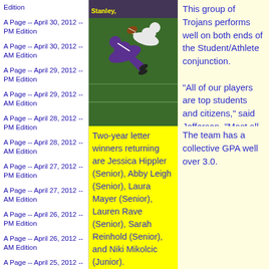Edition
A Page -- April 30, 2012 -- PM Edition
A Page -- April 30, 2012 -- AM Edition
A Page -- April 29, 2012 -- PM Edition
A Page -- April 29, 2012 -- AM Edition
A Page -- April 28, 2012 -- PM Edition
A Page -- April 28, 2012 -- AM Edition
A Page -- April 27, 2012 -- PM Edition
A Page -- April 27, 2012 -- AM Edition
A Page -- April 26, 2012 -- PM Edition
A Page -- April 26, 2012 -- AM Edition
A Page -- April 25, 2012 -- PM Edition
A Page -- April 25, 2012 -- AM Edition
[Figure (photo): Football action photo showing players in purple uniforms on a green field]
Stanley, This group of Trojans performs well on both ends of the Student/Athlete conjunction.
Two-year letter winners returning are Jessica Hippler (Senior), Abby Leigh (Senior), Laura Mayer (Senior), Lauren Rave (Senior), Sarah Reinhold (Senior), and Niki Mikolcic (Junior).
For scoring punch, the Jaguars will
"All of our players are top students and citizens," said Jefferson. "Most all of our athletes are A and B students and at the top of their class"
The team has a collective GPA well over 3.0.